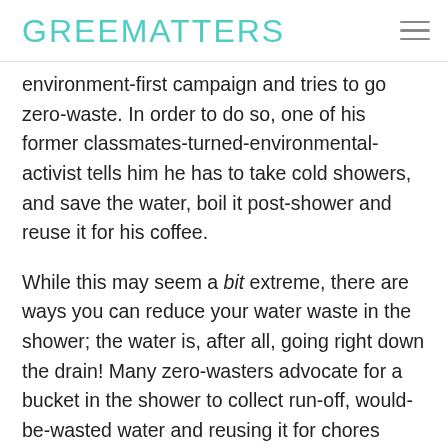GREENMATTERS
environment-first campaign and tries to go zero-waste. In order to do so, one of his former classmates-turned-environmental-activist tells him he has to take cold showers, and save the water, boil it post-shower and reuse it for his coffee.
While this may seem a bit extreme, there are ways you can reduce your water waste in the shower; the water is, after all, going right down the drain! Many zero-wasters advocate for a bucket in the shower to collect run-off, would-be-wasted water and reusing it for chores around the house, like watering the plants.